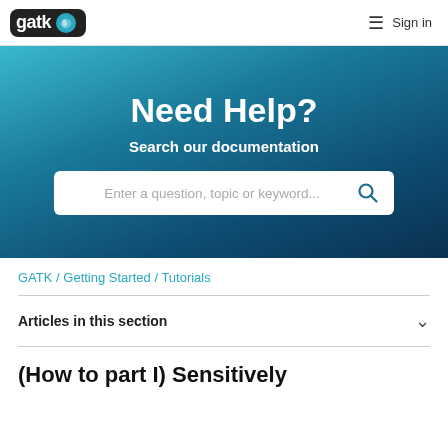gatk  Sign in
Need Help?
Search our documentation
Enter a question, topic or keyword...
GATK / Getting Started / Tutorials
Articles in this section
(How to part I) Sensitively